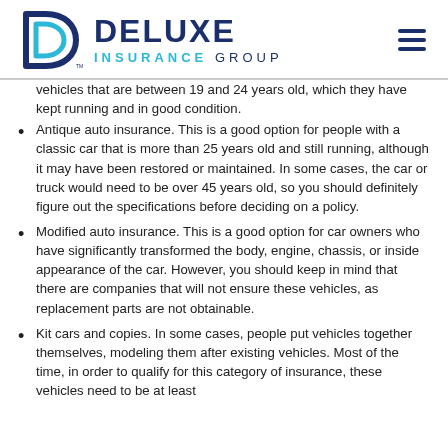[Figure (logo): Deluxe Insurance Group logo with stylized D icon in dark blue and cyan, company name in bold dark blue uppercase letters, with hamburger menu icon on the right]
vehicles that are between 19 and 24 years old, which they have kept running and in good condition.
Antique auto insurance. This is a good option for people with a classic car that is more than 25 years old and still running, although it may have been restored or maintained. In some cases, the car or truck would need to be over 45 years old, so you should definitely figure out the specifications before deciding on a policy.
Modified auto insurance. This is a good option for car owners who have significantly transformed the body, engine, chassis, or inside appearance of the car. However, you should keep in mind that there are companies that will not ensure these vehicles, as replacement parts are not obtainable.
Kit cars and copies. In some cases, people put vehicles together themselves, modeling them after existing vehicles. Most of the time, in order to qualify for this category of insurance, these vehicles need to be at least